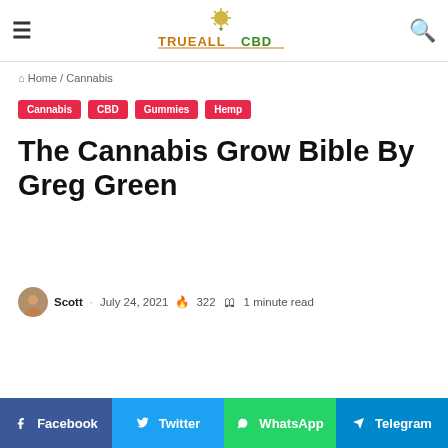TrueAllCBD — site header with hamburger menu, logo, and search icon
Home / Cannabis
Cannabis
CBD
Gummies
Hemp
The Cannabis Grow Bible By Greg Green
Scott · July 24, 2021 🔥 322 📖 1 minute read
Facebook  Twitter  WhatsApp  Telegram